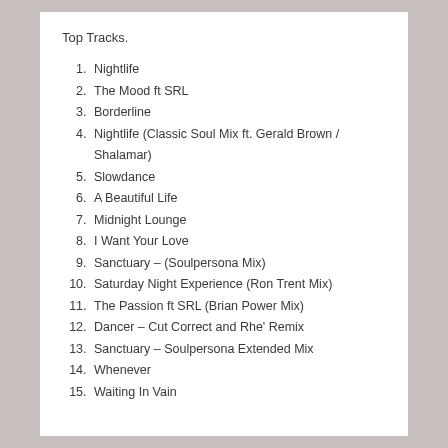Top Tracks.
1. Nightlife
2. The Mood ft SRL
3. Borderline
4. Nightlife (Classic Soul Mix ft. Gerald Brown / Shalamar)
5. Slowdance
6. A Beautiful Life
7. Midnight Lounge
8. I Want Your Love
9. Sanctuary – (Soulpersona Mix)
10. Saturday Night Experience (Ron Trent Mix)
11. The Passion ft SRL (Brian Power Mix)
12. Dancer – Cut Correct and Rhe' Remix
13. Sanctuary – Soulpersona Extended Mix
14. Whenever
15. Waiting In Vain